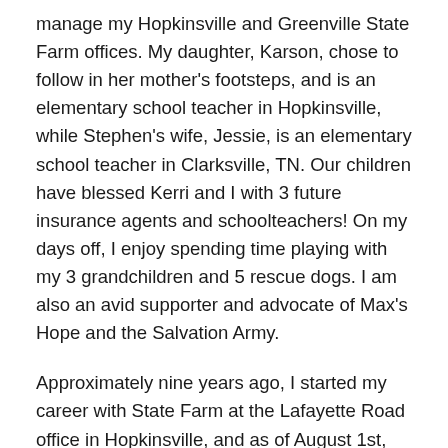manage my Hopkinsville and Greenville State Farm offices. My daughter, Karson, chose to follow in her mother's footsteps, and is an elementary school teacher in Hopkinsville, while Stephen's wife, Jessie, is an elementary school teacher in Clarksville, TN. Our children have blessed Kerri and I with 3 future insurance agents and schoolteachers! On my days off, I enjoy spending time playing with my 3 grandchildren and 5 rescue dogs. I am also an avid supporter and advocate of Max's Hope and the Salvation Army.
Approximately nine years ago, I started my career with State Farm at the Lafayette Road office in Hopkinsville, and as of August 1st, 2022, I took over retiring Greenville agent Denny Slinker's State Farm office. We now have offices in Hopkinsville and Greenville. I am licensed in both Kentucky and Tennessee and hold the professional designations of FLMI and LUTCF. I am a member of the Christian County Chamber of Commerce and am a past